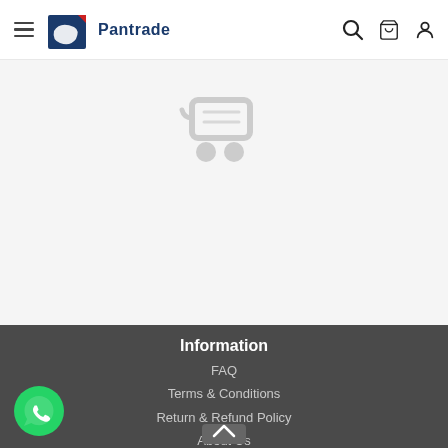Pantrade — navigation header with hamburger menu, logo, search, cart, and account icons
[Figure (illustration): Empty shopping cart icon in light gray on a light gray background, indicating an empty cart state]
Information
FAQ
Terms & Conditions
Return & Refund Policy
About Us
Delivery Method
[Figure (illustration): Green circular WhatsApp button with white phone/chat icon, bottom left corner]
[Figure (illustration): Scroll-to-top arrow button, bottom center]